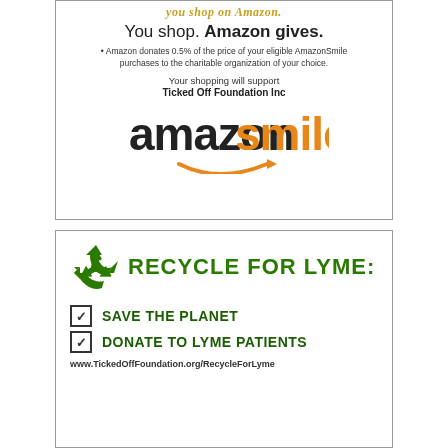you shop on Amazon.
You shop. Amazon gives.
Amazon donates 0.5% of the price of your eligible AmazonSmile purchases to the charitable organization of your choice.
Your shopping will support Ticked Off Foundation Inc
[Figure (logo): AmazonSmile logo with black 'amazon' text and orange 'smile' text and orange arrow/smile swoosh underneath]
[Figure (logo): Recycle For Lyme header with green recycling symbol and bold green text RECYCLE FOR LYME:]
SAVE THE PLANET
DONATE TO LYME PATIENTS
www.TickedOffFoundation.org/RecycleForLyme